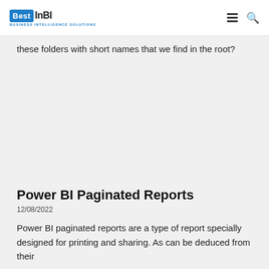BestInBI - Business Intelligence Solutions
these folders with short names that we find in the root?
Power BI Paginated Reports
12/08/2022
Power BI paginated reports are a type of report specially designed for printing and sharing. As can be deduced from their